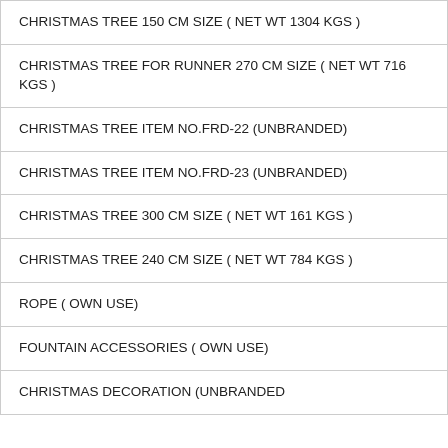| CHRISTMAS TREE 150 CM SIZE ( NET WT 1304 KGS ) |
| CHRISTMAS TREE FOR RUNNER 270 CM SIZE ( NET WT 716 KGS ) |
| CHRISTMAS TREE ITEM NO.FRD-22 (UNBRANDED) |
| CHRISTMAS TREE ITEM NO.FRD-23 (UNBRANDED) |
| CHRISTMAS TREE 300 CM SIZE ( NET WT 161 KGS ) |
| CHRISTMAS TREE 240 CM SIZE ( NET WT 784 KGS ) |
| ROPE ( OWN USE) |
| FOUNTAIN ACCESSORIES ( OWN USE) |
| CHRISTMAS DECORATION (UNBRANDED |